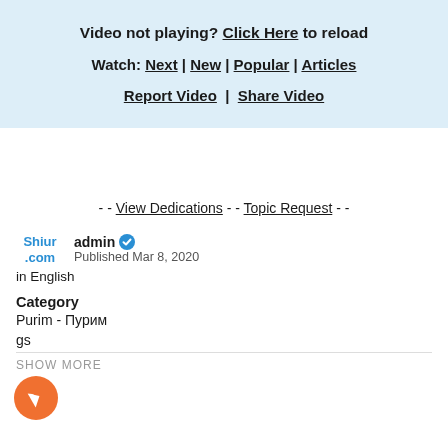Video not playing? Click Here to reload
Watch: Next | New | Popular | Articles
Report Video | Share Video
- - View Dedications - - Topic Request - -
admin Published Mar 8, 2020
in English
Category
Purim - Пурим
gs
SHOW MORE